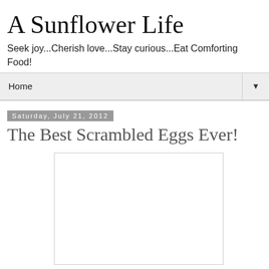A Sunflower Life
Seek joy...Cherish love...Stay curious...Eat Comforting Food!
Home ▼
Saturday, July 21, 2012
The Best Scrambled Eggs Ever!
[Figure (photo): A white rectangular image placeholder with a light gray border, representing a food photo]